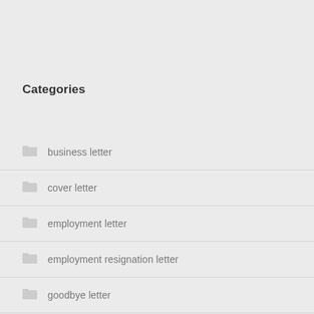Categories
business letter
cover letter
employment letter
employment resignation letter
goodbye letter
informational letter